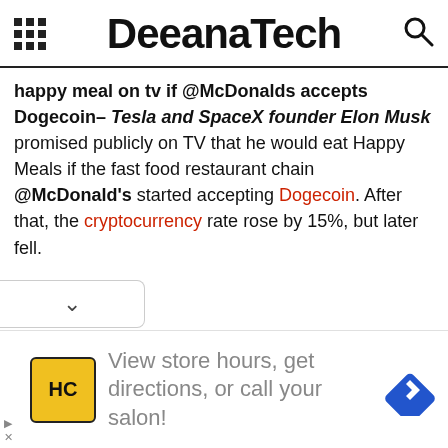DeeanaTech
happy meal on tv if @McDonalds accepts Dogecoin– Tesla and SpaceX founder Elon Musk promised publicly on TV that he would eat Happy Meals if the fast food restaurant chain @McDonald's started accepting Dogecoin. After that, the cryptocurrency rate rose by 15%, but later fell.
[Figure (other): Collapsed panel chevron button at bottom left]
[Figure (other): Advertisement banner: HC logo, text 'View store hours, get directions, or call your salon!', blue diamond arrow icon]